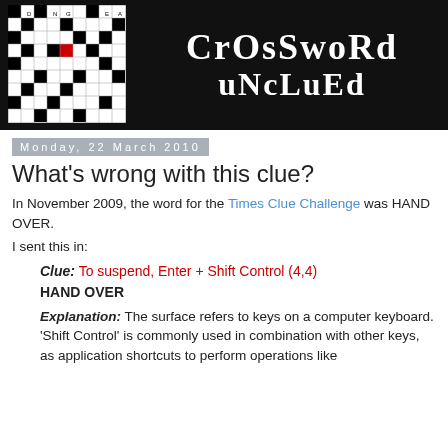[Figure (logo): Crossword Unclued blog header with crossword grid image on left and 'CROSSWORD UNCLUED' text on black background]
Monday, 22 March 2010
What's wrong with this clue?
In November 2009, the word for the Times Clue Challenge was HAND OVER.
I sent this in:
Clue: To suspend, Enter + Shift Control (4,4)
HAND OVER
Explanation: The surface refers to keys on a computer keyboard. 'Shift Control' is commonly used in combination with other keys, as application shortcuts to perform operations like